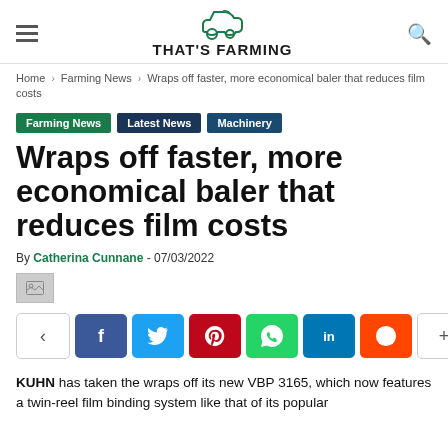THAT'S FARMING
Home > Farming News > Wraps off faster, more economical baler that reduces film costs
Farming News
Latest News
Machinery
Wraps off faster, more economical baler that reduces film costs
By Catherina Cunnane - 07/03/2022
[Figure (other): Image placeholder icon]
[Figure (other): Social share bar with icons: share, Facebook, Twitter, Pinterest, WhatsApp, LinkedIn, Reddit, more]
KUHN has taken the wraps off its new VBP 3165, which now features a twin-reel film binding system like that of its popular